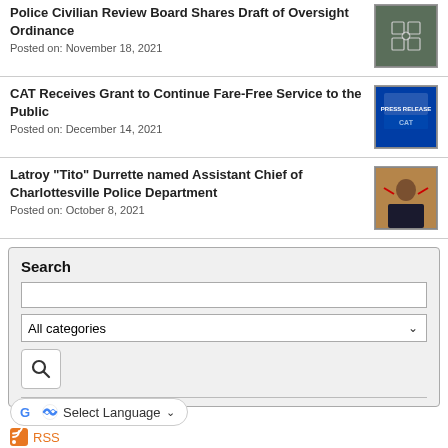Police Civilian Review Board Shares Draft of Oversight Ordinance
Posted on: November 18, 2021
CAT Receives Grant to Continue Fare-Free Service to the Public
Posted on: December 14, 2021
Latroy "Tito" Durrette named Assistant Chief of Charlottesville Police Department
Posted on: October 8, 2021
Search
All categories
Select Language
RSS